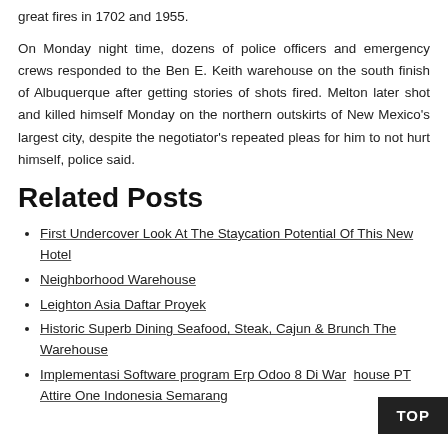great fires in 1702 and 1955.
On Monday night time, dozens of police officers and emergency crews responded to the Ben E. Keith warehouse on the south finish of Albuquerque after getting stories of shots fired. Melton later shot and killed himself Monday on the northern outskirts of New Mexico's largest city, despite the negotiator's repeated pleas for him to not hurt himself, police said.
Related Posts
First Undercover Look At The Staycation Potential Of This New Hotel
Neighborhood Warehouse
Leighton Asia Daftar Proyek
Historic Superb Dining Seafood, Steak, Cajun & Brunch The Warehouse
Implementasi Software program Erp Odoo 8 Di Warehouse PT Attire One Indonesia Semarang